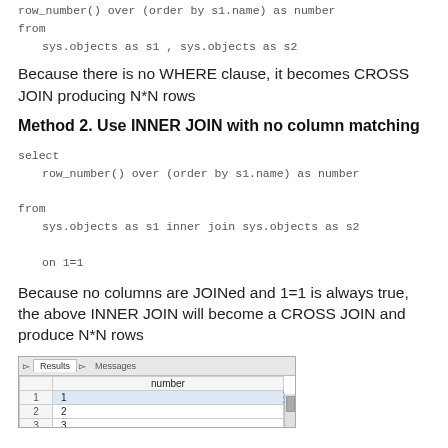row_number() over (order by s1.name) as number
from
    sys.objects as s1 , sys.objects as s2
Because there is no WHERE clause, it becomes CROSS JOIN producing N*N rows
Method 2. Use INNER JOIN with no column matching
select
    row_number() over (order by s1.name) as number
from
    sys.objects as s1 inner join sys.objects as s2
    on 1=1
Because no columns are JOINed and 1=1 is always true, the above INNER JOIN will become a CROSS JOIN and produce N*N rows
[Figure (screenshot): SQL Server Management Studio query results grid showing a 'number' column with rows 1, 2, 3, 4 visible, with Results and Messages tabs at top.]